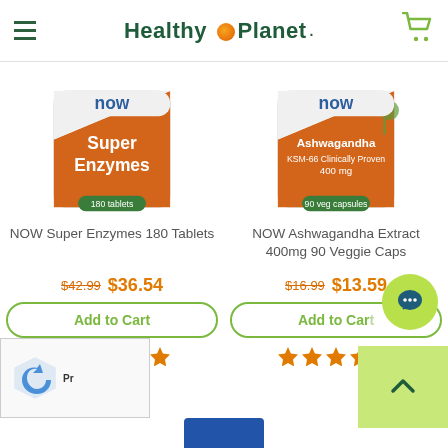Healthy Planet
[Figure (photo): NOW Super Enzymes 180 Tablets product bottle with orange and white label]
NOW Super Enzymes 180 Tablets
$42.99 $36.54
Add to Cart
[Figure (photo): NOW Ashwagandha Extract 400mg 90 Veggie Caps product bottle with orange label]
NOW Ashwagandha Extract 400mg 90 Veggie Caps
$16.99 $13.59
Add to Cart